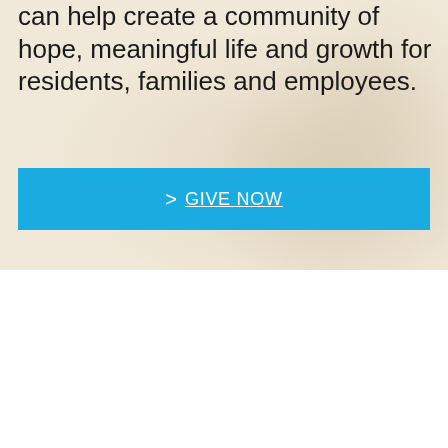can help create a community of hope, meaningful life and growth for residents, families and employees.
> GIVE NOW
Contact Us
1501 Virginia Ave., Harrisonburg, VA 22802 Phone: 540-564-3400
> DIRECTIONS